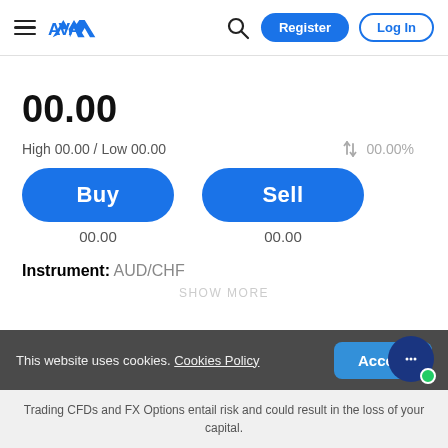AVA — Register | Log In
00.00
High 00.00 / Low 00.00   ↑↓ 00.00%
[Figure (screenshot): Buy button with price 00.00 and Sell button with price 00.00]
Instrument: AUD/CHF
This website uses cookies. Cookies Policy
Trading CFDs and FX Options entail risk and could result in the loss of your capital.